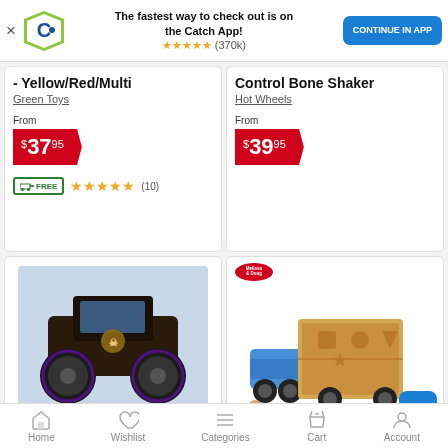[Figure (screenshot): Catch app promotional banner with logo, text 'The fastest way to check out is on the Catch App!', 5 gold stars rating (370k), and 'CONTINUE IN APP' blue button]
- Yellow/Red/Multi
Green Toys
From
$37.95
[Figure (other): Free delivery truck icon with FREE text in green]
★★★★★ (10)
Control Bone Shaker
Hot Wheels
From
$39.95
[Figure (photo): Monster Jam One Bad Ghoul monster truck toy in packaging]
[Figure (photo): Melissa & Doug wooden shape sorting truck toy with colorful blocks and wooden figures]